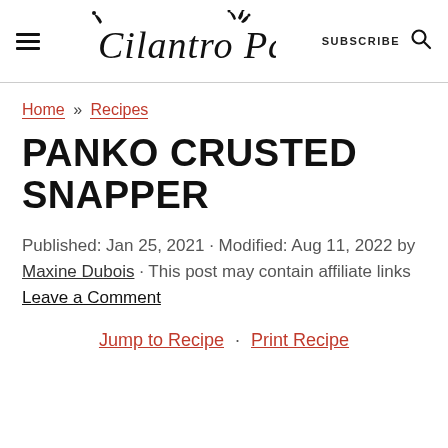Cilantro Parsley — SUBSCRIBE (search icon)
Home » Recipes
PANKO CRUSTED SNAPPER
Published: Jan 25, 2021 · Modified: Aug 11, 2022 by Maxine Dubois · This post may contain affiliate links Leave a Comment
Jump to Recipe · Print Recipe